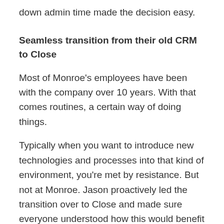down admin time made the decision easy.
Seamless transition from their old CRM to Close
Most of Monroe’s employees have been with the company over 10 years. With that comes routines, a certain way of doing things.
Typically when you want to introduce new technologies and processes into that kind of environment, you’re met by resistance. But not at Monroe. Jason proactively led the transition over to Close and made sure everyone understood how this would benefit the entire team.